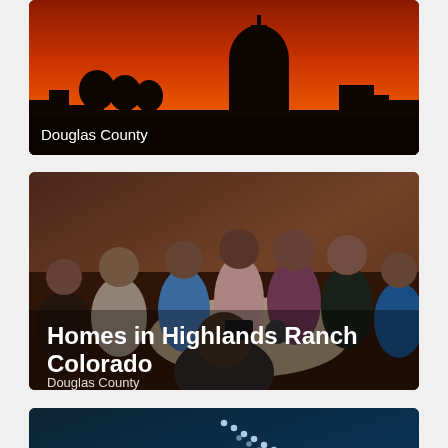[Figure (photo): Sunset/dusk cityscape silhouette with orange-red sky, card labeled Douglas County]
Douglas County
[Figure (photo): Group of young people gathered around a round table, card labeled Homes in Highlands Ranch Colorado and Douglas County]
Homes in Highlands Ranch Colorado
Douglas County
[Figure (photo): Dark teal background with glowing dotted/dashed L-shaped line design]